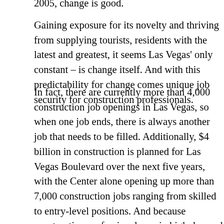2005, change is good.
Gaining exposure for its novelty and thriving from supplying tourists, residents with the latest and greatest, it seems Las Vegas' only constant – is change itself. And with this predictability for change comes unique job security for construction professionals.
In fact, there are currently more than 4,000 construction job openings in Las Vegas, so when one job ends, there is always another job that needs to be filled. Additionally, $4 billion in construction is planned for Las Vegas Boulevard over the next five years, with the Center alone opening up more than 7,000 construction jobs ranging from skilled to entry-level positions. And because construction professionals are in high demand in this city, salaries are above the national average – some being the highest in the country.
However, construction professionals aren't the only people finding jobs in Las Vegas. With Southern Nevada's unemployment rate one of the lowest in the country, spouses and family members of construction professionals have a smorgasbord of employment opportunities awaiting them as well.
Much of Las Vegas' substantial growth has been in the last decade-plus, with Nevada being the country's fastest growing state for nearly 20 years. To keep up with its booming population, it has expanded its horizons to meet the needs no longer just of tourists, but of those who want to turn Las Vegas into their home.
Because of this, affordable housing for all budgets is available throughout the valley, and several master planned communities have been built over the last few years not just in the suburbs, but in all areas of the valley, including Summerlin, Anthem, Green Valley,